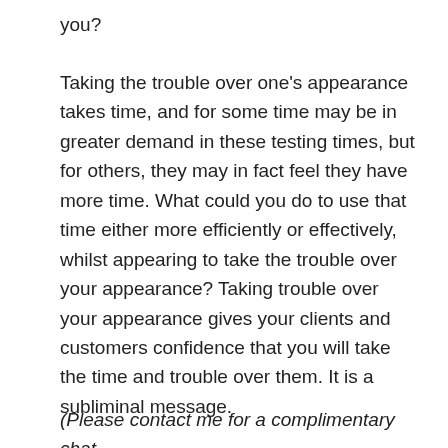you?
Taking the trouble over one’s appearance takes time, and for some time may be in greater demand in these testing times, but for others, they may in fact feel they have more time. What could you do to use that time either more efficiently or effectively, whilst appearing to take the trouble over your appearance? Taking trouble over your appearance gives your clients and customers confidence that you will take the time and trouble over them. It is a subliminal message.
(Please contact me for a complimentary chat